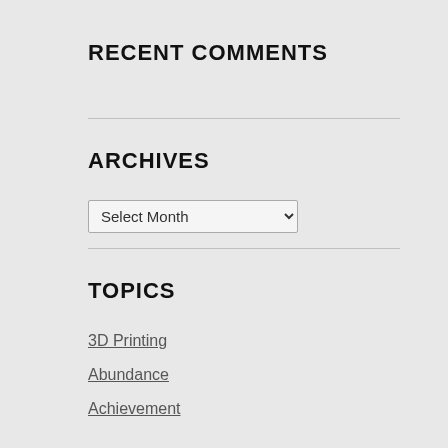RECENT COMMENTS
ARCHIVES
TOPICS
3D Printing
Abundance
Achievement
Adventure
Aerospace
Affirmations